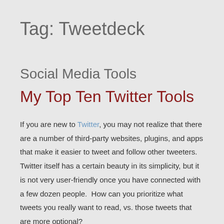Tag: Tweetdeck
Social Media Tools
My Top Ten Twitter Tools
If you are new to Twitter, you may not realize that there are a number of third-party websites, plugins, and apps that make it easier to tweet and follow other tweeters.  Twitter itself has a certain beauty in its simplicity, but it is not very user-friendly once you have connected with a few dozen people.  How can you prioritize what tweets you really want to read, vs. those tweets that are more optional?